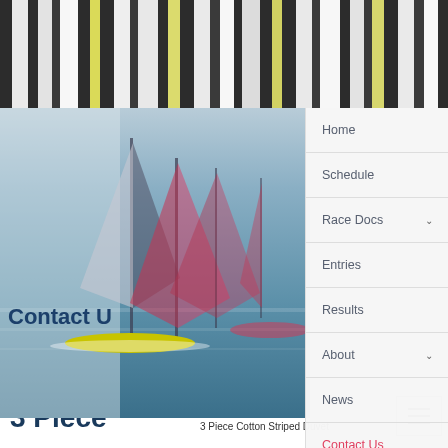[Figure (photo): Top banner showing black and white striped fabric with yellow accents]
[Figure (photo): Background photo of sailing race with colorful sailboats on water, partially visible behind navigation menu]
Home
Schedule
Race Docs ∨
Entries
Results
About ∨
News
Contact Us
Contact Us
3 Piece
3 Piece Cotton Striped Duvet